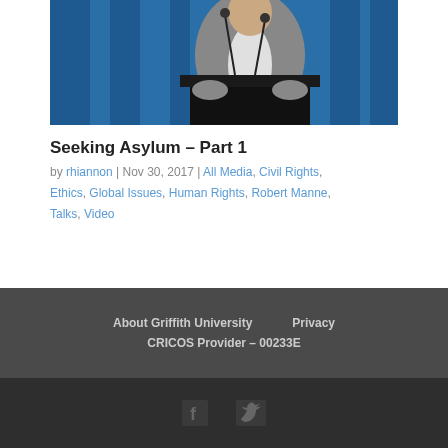[Figure (photo): A man in a gray blazer standing at a podium/lectern against a blue curtain background, speaking at an event]
Seeking Asylum – Part 1
by rhiannon | Nov 30, 2017 | All Media, Civil Rights, Ethics, Global Issues, Human Rights, Robert Manne, Talks, Video
« Older Entries
About Griffith University   Privacy   CRICOS Provider – 00233E